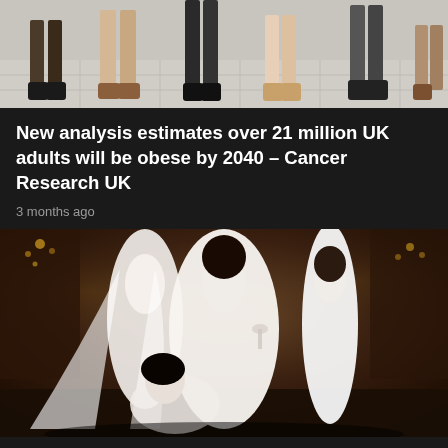[Figure (photo): Top portion of a photo showing people's legs and feet walking on a light-colored floor, cropped to show only the lower portion.]
New analysis estimates over 21 million UK adults will be obese by 2040 – Cancer Research UK
3 months ago
[Figure (photo): Four women in white bridal wedding dresses posing in an ornate room. One woman is kneeling/sitting in the foreground, three are standing behind. The setting appears to be a grand country house.]
Bridal Fashion Glamour & Grandeur at Avington Park Cou House Wedding Venue in Hampshire | Love My Dress®